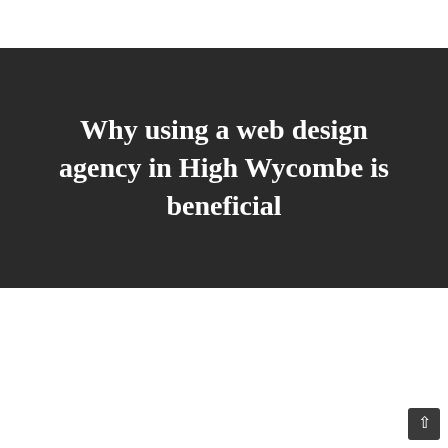Why using a web design agency in High Wycombe is beneficial
[Figure (photo): Two businesspeople in suits shaking hands, photographed from chest level, with a blue-tinted blurred background. A magenta/pink decorative bar overlaps the top of the photo.]